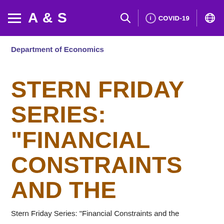A&S
Department of Economics
STERN FRIDAY SERIES: "FINANCIAL CONSTRAINTS AND THE RACIAL HOUSING GAP" - ARPIT GUPTA (NYU)
Stern Friday Series: "Financial Constraints and the